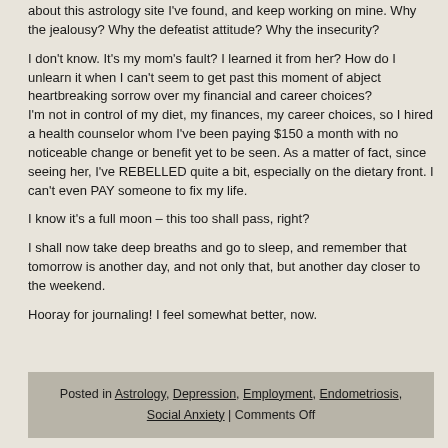about this astrology site I've found, and keep working on mine. Why the jealousy? Why the defeatist attitude? Why the insecurity?
I don't know. It's my mom's fault? I learned it from her? How do I unlearn it when I can't seem to get past this moment of abject heartbreaking sorrow over my financial and career choices?
I'm not in control of my diet, my finances, my career choices, so I hired a health counselor whom I've been paying $150 a month with no noticeable change or benefit yet to be seen. As a matter of fact, since seeing her, I've REBELLED quite a bit, especially on the dietary front. I can't even PAY someone to fix my life.
I know it's a full moon – this too shall pass, right?
I shall now take deep breaths and go to sleep, and remember that tomorrow is another day, and not only that, but another day closer to the weekend.
Hooray for journaling! I feel somewhat better, now.
Posted in Astrology, Depression, Employment, Endometriosis, Social Anxiety | Comments Off